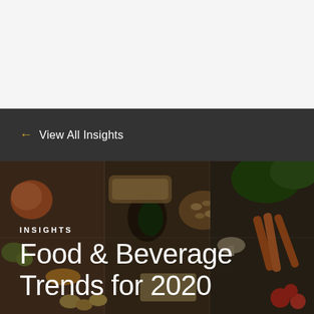← View All Insights
[Figure (photo): Overhead photo of various fresh foods including fruits, vegetables, nuts, spices, bread, meat, and herbs arranged on a dark wooden surface, with a semi-transparent dark overlay. Text overlaid: INSIGHTS / Food & Beverage Trends for 2020]
INSIGHTS
Food & Beverage Trends for 2020